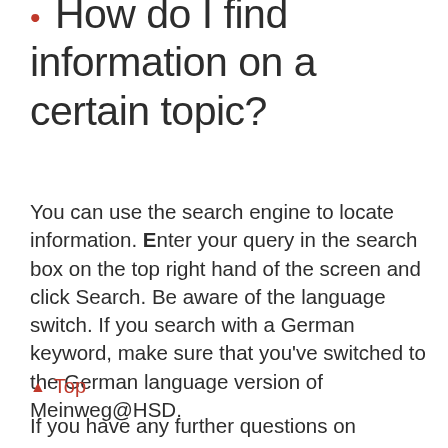How do I find information on a certain topic?
You can use the search engine to locate information. Enter your query in the search box on the top right hand of the screen and click Search. Be aware of the language switch. If you search with a German keyword, make sure that you've switched to the German language version of Meinweg@HSD.
↑ Top
If you have any further questions on